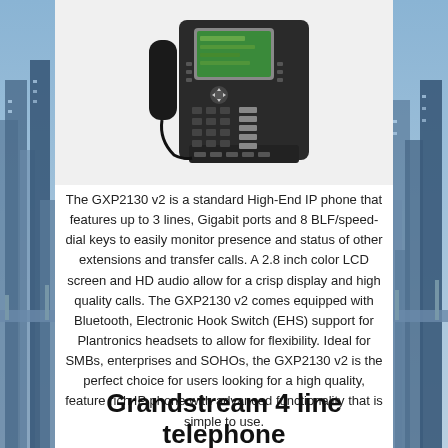[Figure (photo): Photo of a Grandstream GXP2130 v2 IP desk phone (black) with color LCD screen, keypad, and BLF keys, shown against a white background.]
The GXP2130 v2 is a standard High-End IP phone that features up to 3 lines, Gigabit ports and 8 BLF/speed-dial keys to easily monitor presence and status of other extensions and transfer calls. A 2.8 inch color LCD screen and HD audio allow for a crisp display and high quality calls. The GXP2130 v2 comes equipped with Bluetooth, Electronic Hook Switch (EHS) support for Plantronics headsets to allow for flexibility. Ideal for SMBs, enterprises and SOHOs, the GXP2130 v2 is the perfect choice for users looking for a high quality, feature rich IP phone with advanced functionality that is simple to use.
Grandstream 4 line telephone